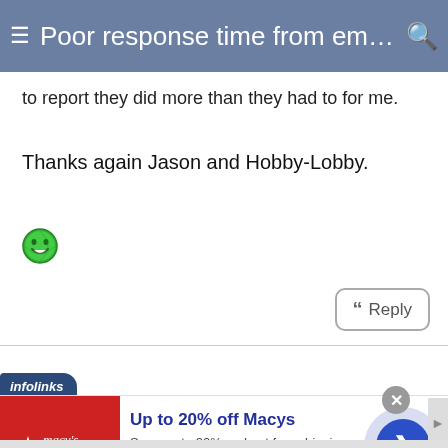Poor response time from email t...
to report they did more than they had to for me.
Thanks again Jason and Hobby-Lobby.
[Figure (illustration): Green smiley/emoji face icon]
Reply
[Figure (infographic): Infolinks advertisement: Up to 20% off Macys. Save up to 20% and get free shipping at Macys.com. macys.com]